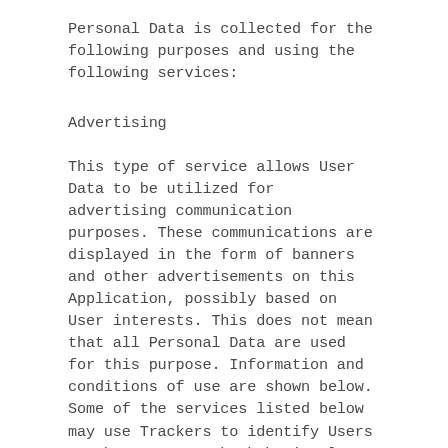Personal Data is collected for the following purposes and using the following services:
Advertising
This type of service allows User Data to be utilized for advertising communication purposes. These communications are displayed in the form of banners and other advertisements on this Application, possibly based on User interests. This does not mean that all Personal Data are used for this purpose. Information and conditions of use are shown below. Some of the services listed below may use Trackers to identify Users or they may use the behavioral retargeting technique, i.e. displaying ads tailored to the